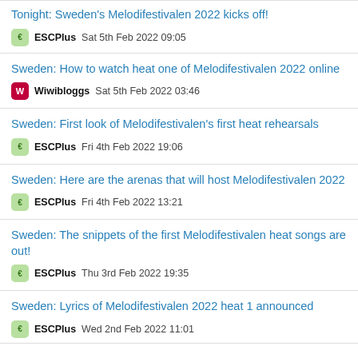Tonight: Sweden's Melodifestivalen 2022 kicks off!
ESCPlus   Sat 5th Feb 2022 09:05
Sweden: How to watch heat one of Melodifestivalen 2022 online
Wiwibloggs   Sat 5th Feb 2022 03:46
Sweden: First look of Melodifestivalen's first heat rehearsals
ESCPlus   Fri 4th Feb 2022 19:06
Sweden: Here are the arenas that will host Melodifestivalen 2022
ESCPlus   Fri 4th Feb 2022 13:21
Sweden: The snippets of the first Melodifestivalen heat songs are out!
ESCPlus   Thu 3rd Feb 2022 19:35
Sweden: Lyrics of Melodifestivalen 2022 heat 1 announced
ESCPlus   Wed 2nd Feb 2022 11:01